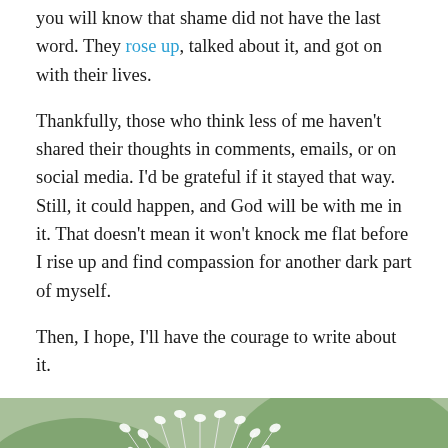you will know that shame did not have the last word. They rose up, talked about it, and got on with their lives.
Thankfully, those who think less of me haven't shared their thoughts in comments, emails, or on social media. I'd be grateful if it stayed that way. Still, it could happen, and God will be with me in it. That doesn't mean it won't knock me flat before I rise up and find compassion for another dark part of myself.
Then, I hope, I'll have the courage to write about it.
[Figure (photo): Close-up photograph of a dandelion seedhead (clock) with white feathery seeds radiating from a dark brown center, with a blurred green background.]